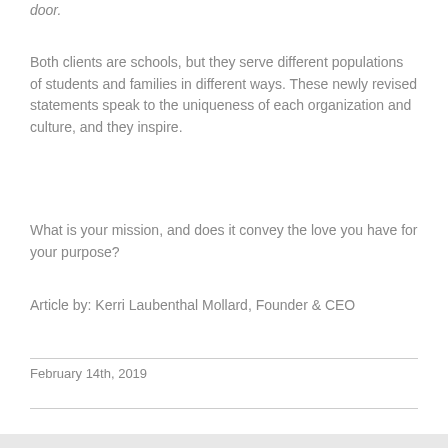door.
Both clients are schools, but they serve different populations of students and families in different ways. These newly revised statements speak to the uniqueness of each organization and culture, and they inspire.
What is your mission, and does it convey the love you have for your purpose?
Article by: Kerri Laubenthal Mollard, Founder & CEO
February 14th, 2019